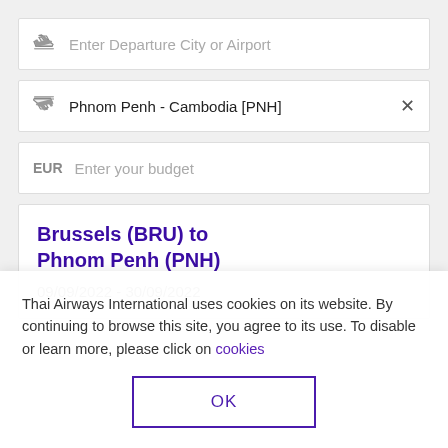[Figure (screenshot): Input field: Enter Departure City or Airport with departure plane icon]
[Figure (screenshot): Input field: Phnom Penh - Cambodia [PNH] with arrival plane icon and X close button]
[Figure (screenshot): Input field: Enter your budget with EUR currency label]
Brussels (BRU) to Phnom Penh (PNH)
09/09/2022 - 30/09/2022
Thai Airways International uses cookies on its website. By continuing to browse this site, you agree to its use. To disable or learn more, please click on cookies
OK